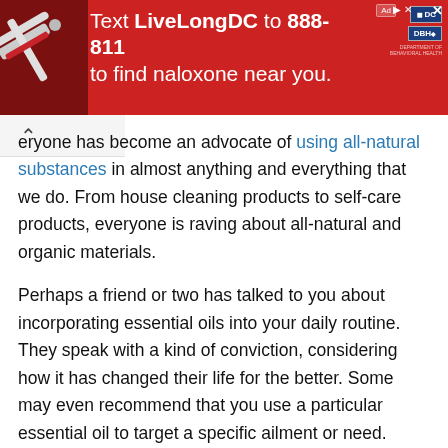[Figure (other): Advertisement banner with red background. Text reads 'Text LiveLongDC to 888-811 to find naloxone near you.' with DC government logos on the right and a syringe photo on the left.]
eryone has become an advocate of using all-natural substances in almost anything and everything that we do. From house cleaning products to self-care products, everyone is raving about all-natural and organic materials.
Perhaps a friend or two has talked to you about incorporating essential oils into your daily routine. They speak with a kind of conviction, considering how it has changed their life for the better. Some may even recommend that you use a particular essential oil to target a specific ailment or need.
With all the many uses of essential oils, are